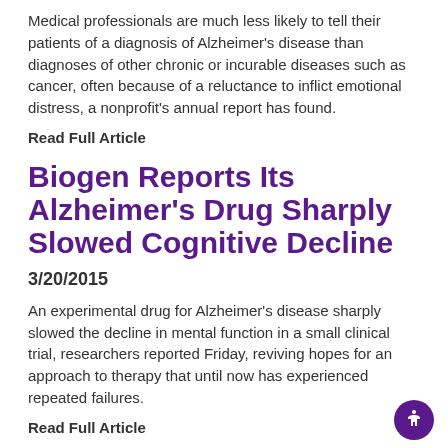Medical professionals are much less likely to tell their patients of a diagnosis of Alzheimer's disease than diagnoses of other chronic or incurable diseases such as cancer, often because of a reluctance to inflict emotional distress, a nonprofit's annual report has found.
Read Full Article
Biogen Reports Its Alzheimer's Drug Sharply Slowed Cognitive Decline
3/20/2015
An experimental drug for Alzheimer's disease sharply slowed the decline in mental function in a small clinical trial, researchers reported Friday, reviving hopes for an approach to therapy that until now has experienced repeated failures.
Read Full Article
A Simple 3-Part Test May Predict Alzheimer's